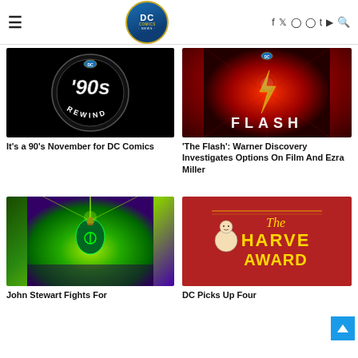DC Comics News — navigation bar with logo, social icons (facebook, twitter, instagram, pinterest, tumblr, youtube) and search
[Figure (illustration): DC 90s Rewind circular black logo with '90s REWIND text]
It's a 90's November for DC Comics
[Figure (photo): The Flash movie logo on red radial background with lightning bolt]
'The Flash': Warner Discovery Investigates Options On Film And Ezra Miller
[Figure (illustration): John Stewart Green Lantern comic art with green energy glow]
John Stewart Fights For
[Figure (illustration): The Harvey Awards logo on red background with cartoon character]
DC Picks Up Four